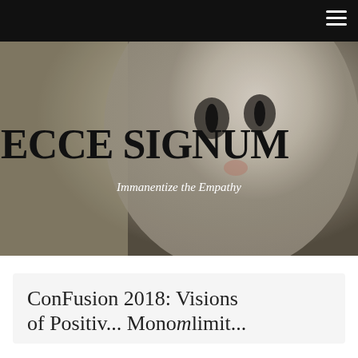≡
[Figure (photo): Close-up photo of a white cat's face used as hero background image]
ECCE SIGNUM
Immanentize the Empathy
ConFusion 2018: Visions of Positiv... Monomlimit...